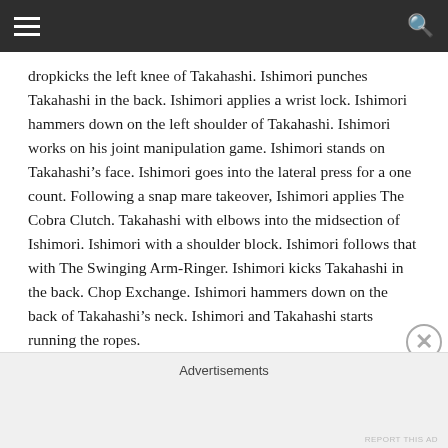dropkicks the left knee of Takahashi. Ishimori punches Takahashi in the back. Ishimori applies a wrist lock. Ishimori hammers down on the left shoulder of Takahashi. Ishimori works on his joint manipulation game. Ishimori stands on Takahashi’s face. Ishimori goes into the lateral press for a one count. Following a snap mare takeover, Ishimori applies The Cobra Clutch. Takahashi with elbows into the midsection of Ishimori. Ishimori with a shoulder block. Ishimori follows that with The Swinging Arm-Ringer. Ishimori kicks Takahashi in the back. Chop Exchange. Ishimori hammers down on the back of Takahashi’s neck. Ishimori and Takahashi starts running the ropes.
Takahashi with a Headscissors Takeover. Takahashi kicks Ishimori in the face. Takahashi applies The Upside Down.
Advertisements